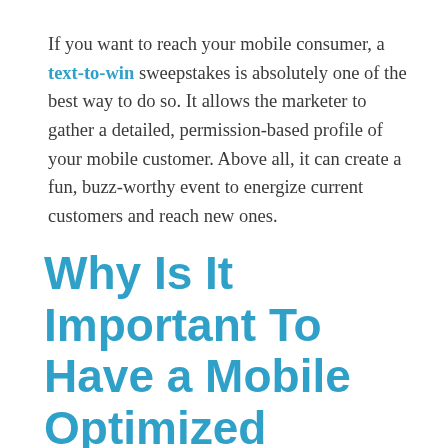If you want to reach your mobile consumer, a text-to-win sweepstakes is absolutely one of the best way to do so. It allows the marketer to gather a detailed, permission-based profile of your mobile customer. Above all, it can create a fun, buzz-worthy event to energize current customers and reach new ones.
Why Is It Important To Have a Mobile Optimized Sweepstakes Page?